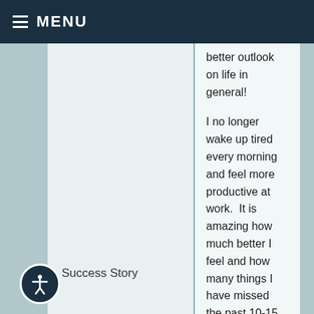MENU
better outlook on life in general!

I no longer wake up tired every morning and feel more productive at work.  It is amazing how much better I feel and how many things I have missed the past 10-15 years that now seems to have been caused by medications I was taking to supposed to make me better.  The side effects were growing, and the
Success Story